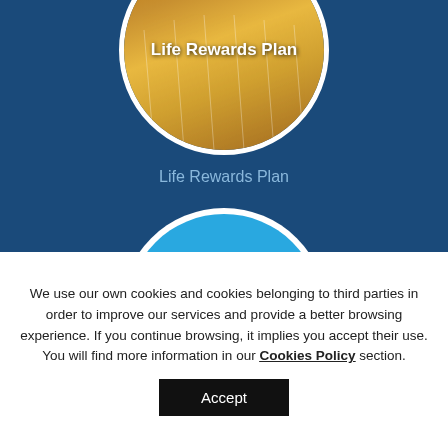[Figure (illustration): Circular badge with golden wheat/nature field background and white bold text 'Life Rewards Plan' centered on a dark blue background]
Life Rewards Plan
[Figure (illustration): Circular blue badge with a large white hand/thumbs up icon overlaid with a green checkmark, on a light blue background with hexagonal pattern]
We use our own cookies and cookies belonging to third parties in order to improve our services and provide a better browsing experience. If you continue browsing, it implies you accept their use. You will find more information in our Cookies Policy section.
Accept